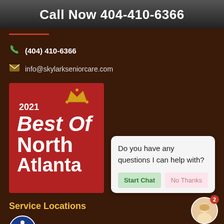Call Now 404-410-6366
(404) 410-6366
info@skylarkseniorcare.com
[Figure (logo): 2021 Best Of North Atlanta award badge with red background and gold crown]
Do you have any questions I can help with?
Service Locations
[Figure (logo): Cobb county accessibility/disability logo in blue circle]
[Figure (photo): Avatar photo of a smiling blonde woman with a red notification badge showing 2]